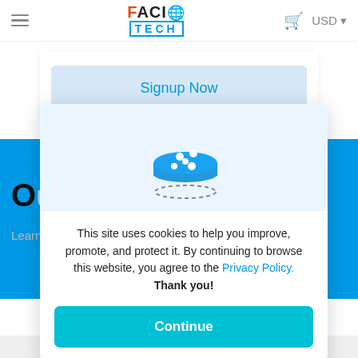[Figure (logo): FaciTech logo with hamburger menu, cart icon, and USD currency selector in navbar]
Signup Now
[Figure (illustration): Cookie icon - blue 3D cookie/disc shape with white dots and dashed circle shadow beneath it]
This site uses cookies to help you improve, promote, and protect it. By continuing to browse this website, you agree to the Privacy Policy. Thank you!
Continue
Our Customers Say
Learn wh
worldwides